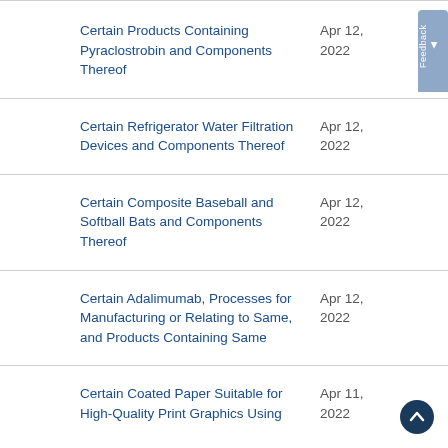Certain Products Containing Pyraclostrobin and Components Thereof
Certain Refrigerator Water Filtration Devices and Components Thereof
Certain Composite Baseball and Softball Bats and Components Thereof
Certain Adalimumab, Processes for Manufacturing or Relating to Same, and Products Containing Same
Certain Coated Paper Suitable for High-Quality Print Graphics Using